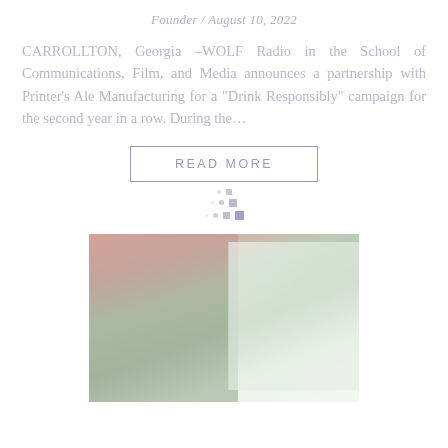Founder / August 10, 2022
CARROLLTON, Georgia –WOLF Radio in the School of Communications, Film, and Media announces a partnership with Printer's Ale Manufacturing for a "Drink Responsibly" campaign for the second year in a row. During the…
READ MORE
[Figure (photo): A photo showing hands near a green surface with papers or books, partially visible, with a somewhat washed-out appearance.]